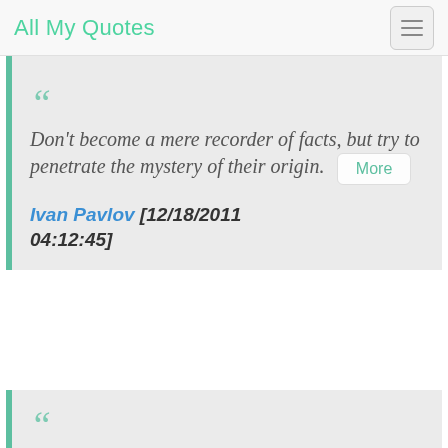All My Quotes
Don't become a mere recorder of facts, but try to penetrate the mystery of their origin. [More] Ivan Pavlov [12/18/2011 04:12:45]
Edible substances evoke the